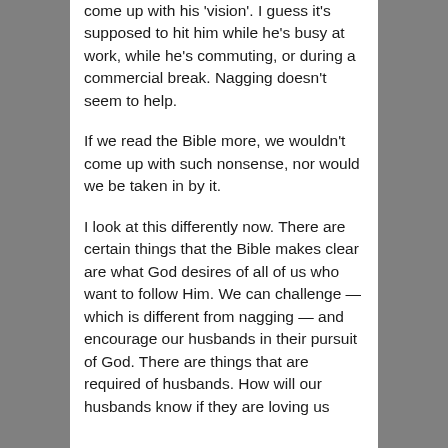come up with his 'vision'. I guess it's supposed to hit him while he's busy at work, while he's commuting, or during a commercial break. Nagging doesn't seem to help.
If we read the Bible more, we wouldn't come up with such nonsense, nor would we be taken in by it.
I look at this differently now. There are certain things that the Bible makes clear are what God desires of all of us who want to follow Him. We can challenge — which is different from nagging — and encourage our husbands in their pursuit of God. There are things that are required of husbands. How will our husbands know if they are loving us